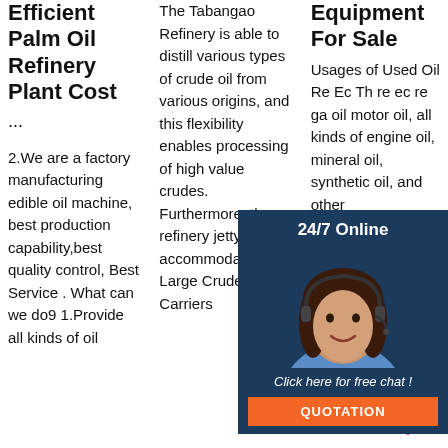Efficient Palm Oil Refinery Plant Cost
...
2.We are a factory manufacturing edible oil machine, best production capability,best quality control, Best Service . What can we do9 1.Provide all kinds of oil
The Tabangao Refinery is able to distill various types of crude oil from various origins, and this flexibility enables processing of high value crudes. Furthermore, the refinery jetty can accommodate Very Large Crude Carriers
Equipment For Sale
Usages of Used Oil Re... Ec... Th... re... ec... re... ga... oil... motor oil, all kinds of engine oil, mineral oil, synthetic oil, and other
[Figure (other): 24/7 Online chat widget with a photo of a woman wearing a headset, a 'Click here for free chat!' message, and an orange QUOTATION button.]